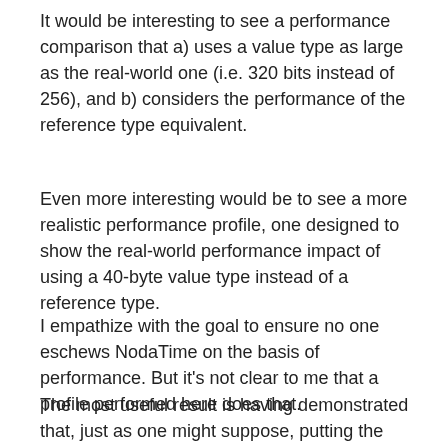It would be interesting to see a performance comparison that a) uses a value type as large as the real-world one (i.e. 320 bits instead of 256), and b) considers the performance of the reference type equivalent.
Even more interesting would be to see a more realistic performance profile, one designed to show the real-world performance impact of using a 40-byte value type instead of a reference type.
I empathize with the goal to ensure no one eschews NodaTime on the basis of performance. But it's not clear to me that a profile performed here does that.
The most useful result is having demonstrated that, just as one might suppose, putting the arithmetic inside the value type instead of repeatedly retrieving the value type is into where inside the best…